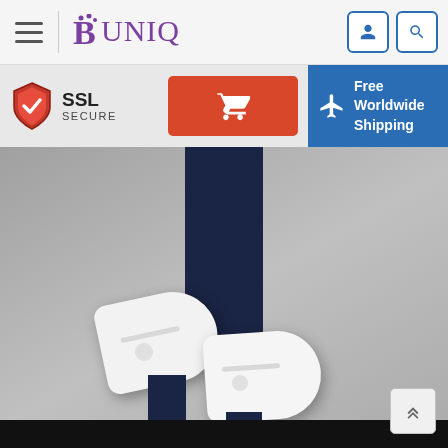BUNIQ — navigation header with hamburger menu, logo, user icon, and search icon
[Figure (infographic): SSL Secure badge with shield icon, red cart button with shopping cart icon, and blue Free Worldwide Shipping banner with airplane icon]
[Figure (photo): Product photo showing a person's legs in dark blue pants wearing white lace-up shoes/sneakers against a grey background]